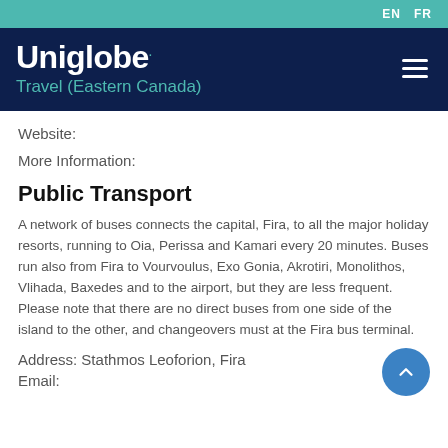EN  FR
Uniglobe. Travel (Eastern Canada)
Website:
More Information:
Public Transport
A network of buses connects the capital, Fira, to all the major holiday resorts, running to Oia, Perissa and Kamari every 20 minutes. Buses run also from Fira to Vourvoulus, Exo Gonia, Akrotiri, Monolithos, Vlihada, Baxedes and to the airport, but they are less frequent. Please note that there are no direct buses from one side of the island to the other, and changeovers must at the Fira bus terminal.
Address: Stathmos Leoforion, Fira
Email: